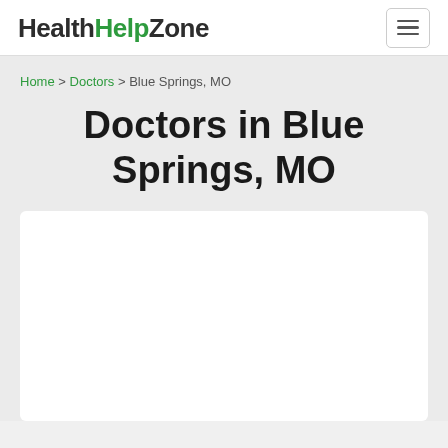HealthHelpZone
Home > Doctors > Blue Springs, MO
Doctors in Blue Springs, MO
[Figure (other): White content card area, empty/blank]